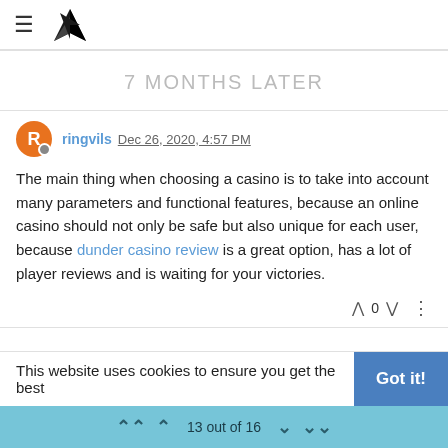≡ [logo]
7 MONTHS LATER
ringvils Dec 26, 2020, 4:57 PM
The main thing when choosing a casino is to take into account many parameters and functional features, because an online casino should not only be safe but also unique for each user, because dunder casino review is a great option, has a lot of player reviews and is waiting for your victories.
^ 0 v ...
This website uses cookies to ensure you get the best   Got it!
13 out of 16